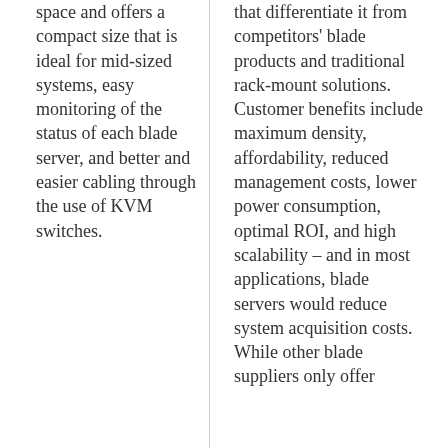space and offers a compact size that is ideal for mid-sized systems, easy monitoring of the status of each blade server, and better and easier cabling through the use of KVM switches.
that differentiate it from competitors' blade products and traditional rack-mount solutions. Customer benefits include maximum density, affordability, reduced management costs, lower power consumption, optimal ROI, and high scalability – and in most applications, blade servers would reduce system acquisition costs. While other blade suppliers only offer